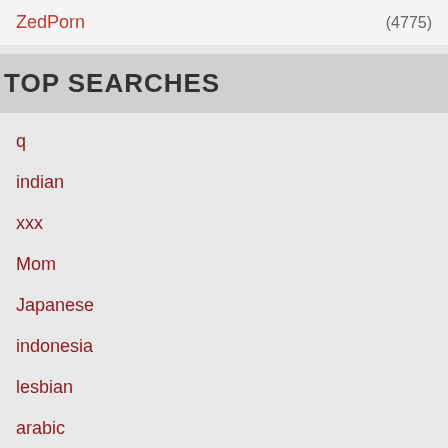ZedPorn (4775)
TOP SEARCHES
q
indian
xxx
Mom
Japanese
indonesia
lesbian
arabic
sleep
gays
anal